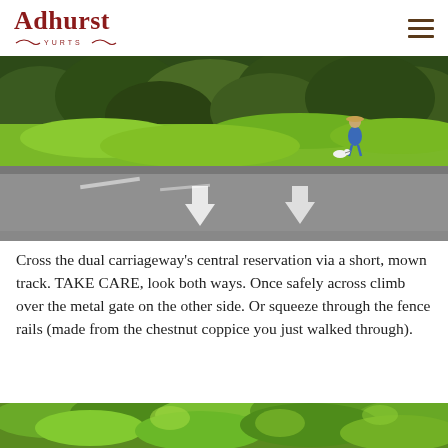Adhurst YURTS
[Figure (photo): A person walking a dog across a dual carriageway with lush green grass verge and trees in background. Road with white arrow markings visible in foreground.]
Cross the dual carriageway’s central reservation via a short, mown track. TAKE CARE, look both ways. Once safely across climb over the metal gate on the other side. Or squeeze through the fence rails (made from the chestnut coppice you just walked through).
[Figure (photo): Dense green woodland / forest canopy with bright green leaves, partially cropped at bottom of page.]